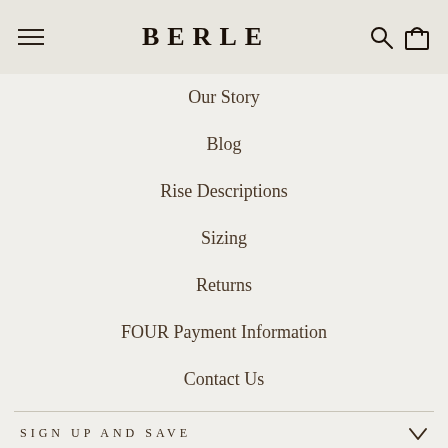BERLE
Our Story
Blog
Rise Descriptions
Sizing
Returns
FOUR Payment Information
Contact Us
SIGN UP AND SAVE
POS and Ecommerce by Shopify